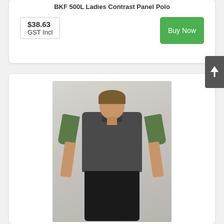BKF 500L Ladies Contrast Panel Polo
$38.63
GST Incl
Buy Now
[Figure (photo): Man wearing a dark charcoal and olive green contrast panel polo shirt, standing against a light grey background with hands at sides/front.]